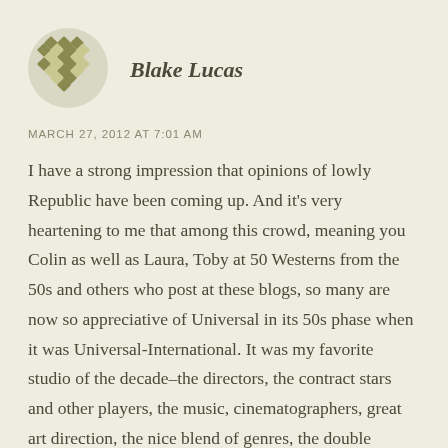[Figure (illustration): Circular avatar icon with a decorative diamond/cross pattern in olive green and cream colors]
Blake Lucas
MARCH 27, 2012 AT 7:01 AM
I have a strong impression that opinions of lowly Republic have been coming up. And it’s very heartening to me that among this crowd, meaning you Colin as well as Laura, Toby at 50 Westerns from the 50s and others who post at these blogs, so many are now so appreciative of Universal in its 50s phase when it was Universal-International. It was my favorite studio of the decade–the directors, the contract stars and other players, the music, cinematographers, great art direction, the nice blend of genres, the double features that were